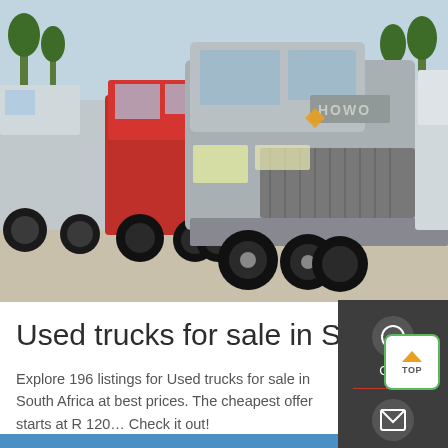[Figure (photo): Photo of multiple HOWO brand used trucks (silver and red) parked in a lot, viewed from a front-low angle. Trees visible in background.]
Used trucks for sale in Sout…
Explore 196 listings for Used trucks for sale in South Africa at best prices. The cheapest offer starts at R 120… Check it out!
Get a Quote